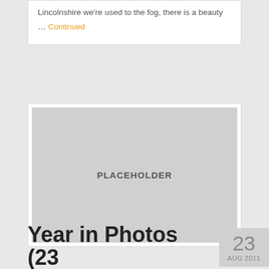Lincolnshire we're used to the fog, there is a beauty … Continued
[Figure (photo): Placeholder image area, large grey rectangle with the word PLACEHOLDER centered]
Year in Photos (23
23 AUG 2011